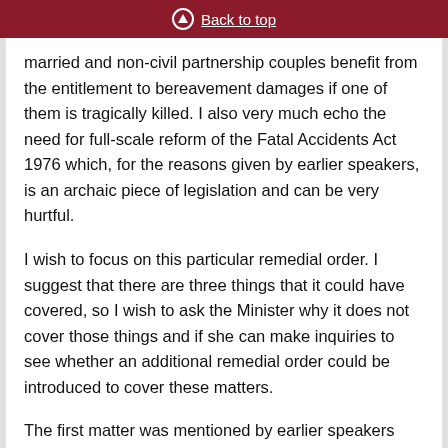Back to top
married and non-civil partnership couples benefit from the entitlement to bereavement damages if one of them is tragically killed. I also very much echo the need for full-scale reform of the Fatal Accidents Act 1976 which, for the reasons given by earlier speakers, is an archaic piece of legislation and can be very hurtful.
I wish to focus on this particular remedial order. I suggest that there are three things that it could have covered, so I wish to ask the Minister why it does not cover those things and if she can make inquiries to see whether an additional remedial order could be introduced to cover these matters.
The first matter was mentioned by earlier speakers